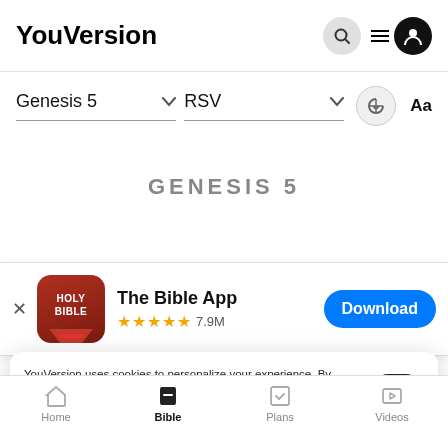YouVersion
Genesis 5  RSV
GENESIS 5
[Figure (screenshot): App store banner for The Bible App with red icon, 5 stars rating 7.9M reviews, and Download button]
This is the book of the generations of Adam.
the likeness of God. Male and female he created
YouVersion uses cookies to personalize your experience. By using our website, you accept our use of cookies as described in our Privacy Policy.
Home  Bible  Plans  Videos